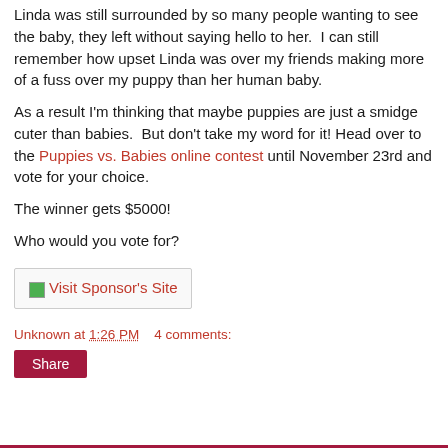Linda was still surrounded by so many people wanting to see the baby, they left without saying hello to her.  I can still remember how upset Linda was over my friends making more of a fuss over my puppy than her human baby.
As a result I'm thinking that maybe puppies are just a smidge cuter than babies.  But don't take my word for it! Head over to the Puppies vs. Babies online contest until November 23rd and vote for your choice.
The winner gets $5000!
Who would you vote for?
[Figure (other): Visit Sponsor's Site button/image link with small green icon]
Unknown at 1:26 PM    4 comments:
Share